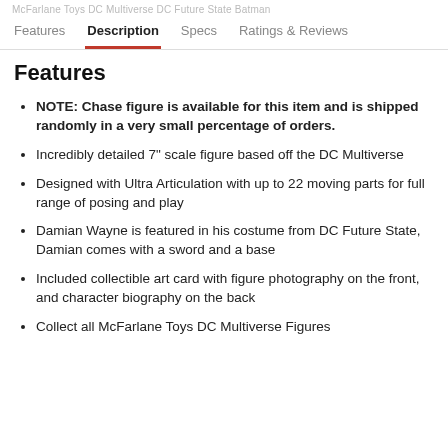Features  Description  Specs  Ratings & Reviews
Features
NOTE: Chase figure is available for this item and is shipped randomly in a very small percentage of orders.
Incredibly detailed 7" scale figure based off the DC Multiverse
Designed with Ultra Articulation with up to 22 moving parts for full range of posing and play
Damian Wayne is featured in his costume from DC Future State, Damian comes with a sword and a base
Included collectible art card with figure photography on the front, and character biography on the back
Collect all McFarlane Toys DC Multiverse Figures